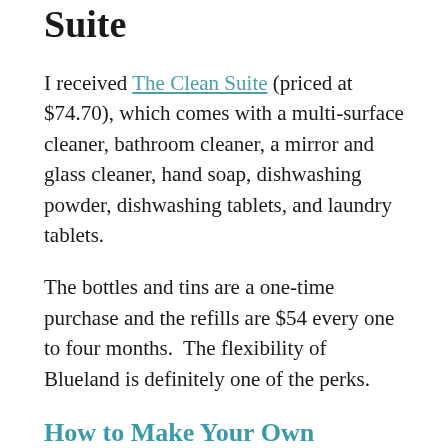Suite
I received The Clean Suite (priced at $74.70), which comes with a multi-surface cleaner, bathroom cleaner, a mirror and glass cleaner, hand soap, dishwashing powder, dishwashing tablets, and laundry tablets.
The bottles and tins are a one-time purchase and the refills are $54 every one to four months.  The flexibility of Blueland is definitely one of the perks.
How to Make Your Own Cleaning Products: